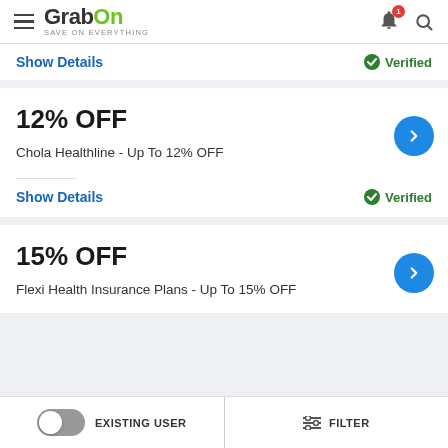[Figure (logo): GrabOn logo with tagline SAVE ON EVERYTHING]
Show Details
Verified
12% OFF
Chola Healthline - Up To 12% OFF
Show Details
Verified
15% OFF
Flexi Health Insurance Plans - Up To 15% OFF
EXISTING USER
FILTER